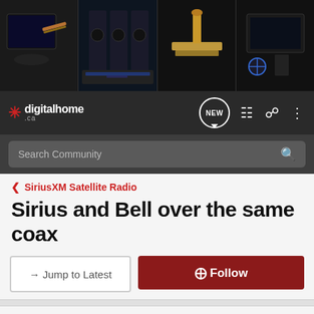[Figure (screenshot): digitalhome.ca website banner with electronics/AV equipment photos]
digitalhome .ca | NEW | navigation icons
Search Community
< SiriusXM Satellite Radio
Sirius and Bell over the same coax
→ Jump to Latest | ⊕ Follow
1 - 9 of 9 Posts
stern_howie · Registered
Joined May 19, 2008 · 64 Posts